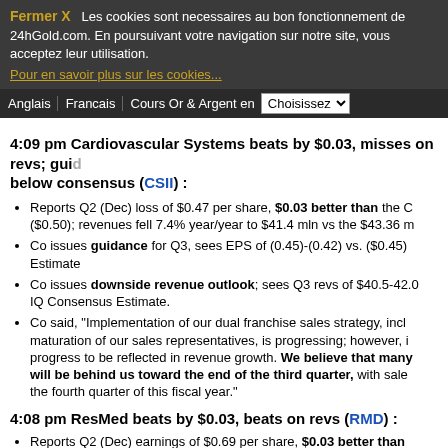Fermer X  Les cookies sont necessaires au bon fonctionnement de 24hGold.com. En poursuivant votre navigation sur notre site, vous acceptez leur utilisation. Pour en savoir plus sur les cookies...
Anglais  Francais  Cours Or & Argent en  Choisissez
4:09 pm Cardiovascular Systems beats by $0.03, misses on revs; guides below consensus (CSII) :
Reports Q2 (Dec) loss of $0.47 per share, $0.03 better than the ($0.50); revenues fell 7.4% year/year to $41.4 mln vs the $43.36 m
Co issues guidance for Q3, sees EPS of (0.45)-(0.42) vs. ($0.45) Estimate
Co issues downside revenue outlook; sees Q3 revs of $40.5-42.0 IQ Consensus Estimate.
Co said, "Implementation of our dual franchise sales strategy, including maturation of our sales representatives, is progressing; however, i progress to be reflected in revenue growth. We believe that many will be behind us toward the end of the third quarter, with sale the fourth quarter of this fiscal year."
4:08 pm ResMed beats by $0.03, beats on revs (RMD) :
Reports Q2 (Dec) earnings of $0.69 per share, $0.03 better than $0.66; revenues rose 7.5% year/year to $454.54 mln vs the $445.4
Gross margin in the second quarter was 58.6%, including a one-